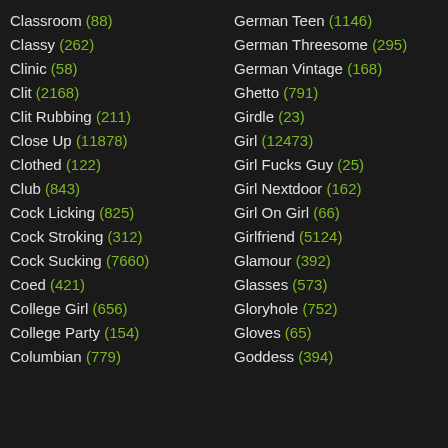Classroom (88)
Classy (262)
Clinic (58)
Clit (2168)
Clit Rubbing (211)
Close Up (11878)
Clothed (122)
Club (843)
Cock Licking (825)
Cock Stroking (312)
Cock Sucking (7660)
Coed (421)
College Girl (656)
College Party (154)
Columbian (779)
German Teen (1146)
German Threesome (295)
German Vintage (168)
Ghetto (791)
Girdle (23)
Girl (12473)
Girl Fucks Guy (25)
Girl Nextdoor (162)
Girl On Girl (66)
Girlfriend (5124)
Glamour (392)
Glasses (573)
Gloryhole (752)
Gloves (65)
Goddess (394)